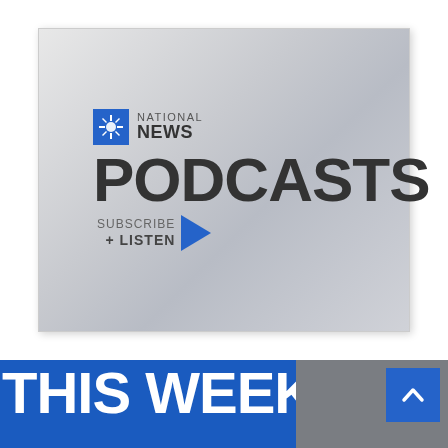[Figure (logo): APTN National News Podcasts promotional image showing the APTN logo, 'NATIONAL NEWS' text, large 'PODCASTS' text, and 'SUBSCRIBE + LISTEN' with a blue play arrow, all on a gray gradient background]
THIS WEEK'S